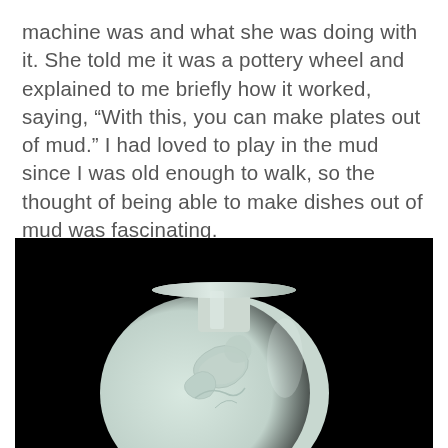machine was and what she was doing with it. She told me it was a pottery wheel and explained to me briefly how it worked, saying, “With this, you can make plates out of mud.” I had loved to play in the mud since I was old enough to walk, so the thought of being able to make dishes out of mud was fascinating.
[Figure (photo): A white ceramic vase with a rounded body and narrow neck, photographed against a solid black background. The vase has raised decorative relief on its surface.]